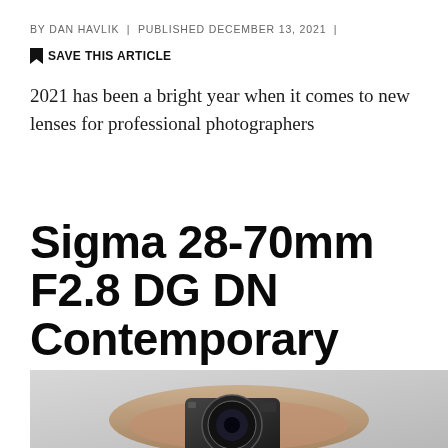BY DAN HAVLIK | PUBLISHED DECEMBER 13, 2021 |
🔖 SAVE THIS ARTICLE
2021 has been a bright year when it comes to new lenses for professional photographers
Sigma 28-70mm F2.8 DG DN Contemporary
[Figure (photo): Photo of a person holding a camera with a Sigma 28-70mm F2.8 DG DN Contemporary lens, shown against a light grey background. Only partial view — arm, wrist, hand, and camera body with lens visible.]